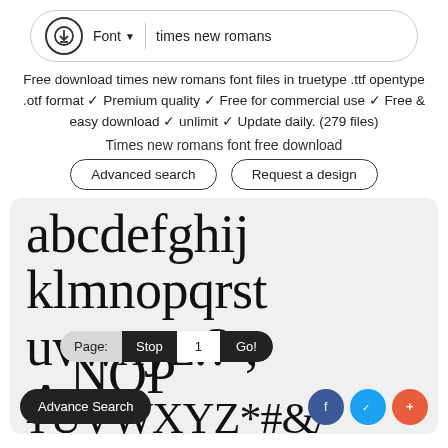[Figure (screenshot): Top navigation bar with download icon, Font dropdown, and search field showing 'times new romans']
Free download times new romans font files in truetype .ttf opentype .otf format ✓ Premium quality ✓ Free for commercial use ✓ Free & easy download ✓ unlimit ✓ Update daily. (279 files)
Times new romans font free download
[Figure (screenshot): Two buttons: 'Advanced search' and 'Request a design']
[Figure (screenshot): Font preview box showing lowercase 'abcdefghij klmnopqrst uvwxyz.?~,' and partial uppercase letters with pagination bar and social icons overlay]